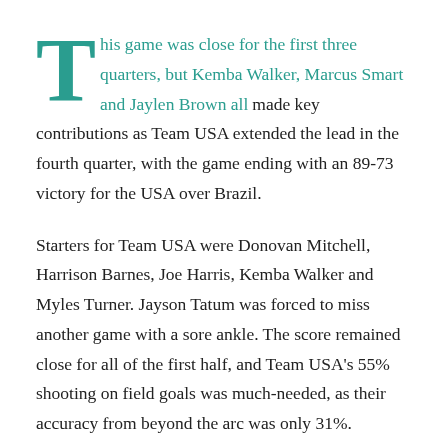This game was close for the first three quarters, but Kemba Walker, Marcus Smart and Jaylen Brown all made key contributions as Team USA extended the lead in the fourth quarter, with the game ending with an 89-73 victory for the USA over Brazil.
Starters for Team USA were Donovan Mitchell, Harrison Barnes, Joe Harris, Kemba Walker and Myles Turner. Jayson Tatum was forced to miss another game with a sore ankle. The score remained close for all of the first half, and Team USA's 55% shooting on field goals was much-needed, as their accuracy from beyond the arc was only 31%.
The first half ended with a score of 43-39 in favor of the Americans. As usual, Kemba Walker was the rock for the USA with 10 points and five assists. Marcus Smart was all